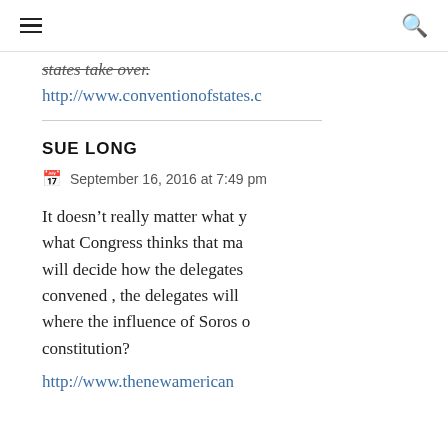☰  🔍
states take over.
http://www.conventionofstates.c
SUE LONG
September 16, 2016 at 7:49 pm
It doesn't really matter what y what Congress thinks that ma will decide how the delegates convened , the delegates will where the influence of Soros o constitution?
http://www.thenewamerican